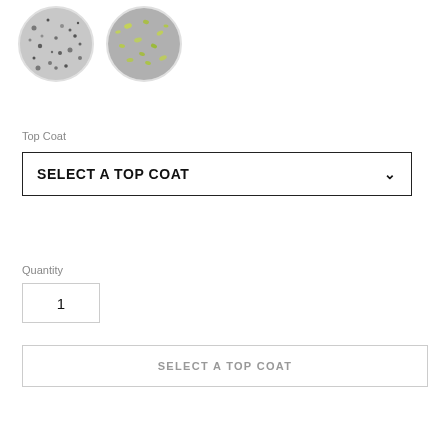[Figure (photo): Two circular sample images side by side — left shows a grey granite-like speckled texture, right shows a grey surface with green/yellow flakes or chips.]
Top Coat
SELECT A TOP COAT
Quantity
1
SELECT A TOP COAT